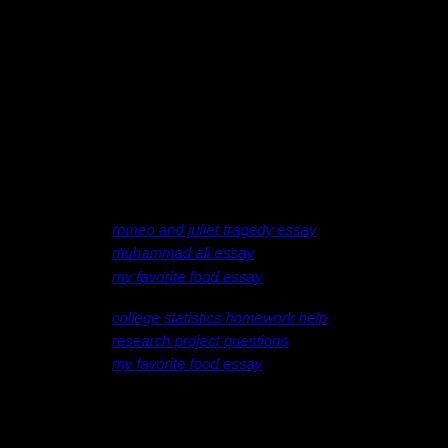romeo and juliet tragedy essay
muhammad ali essay
my favorite food essay
college statistics homework help
research project questions
my favorite food essay